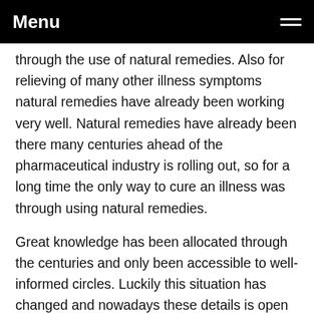Menu
through the use of natural remedies. Also for relieving of many other illness symptoms natural remedies have already been working very well. Natural remedies have already been there many centuries ahead of the pharmaceutical industry is rolling out, so for a long time the only way to cure an illness was through using natural remedies.
Great knowledge has been allocated through the centuries and only been accessible to well-informed circles. Luckily this situation has changed and nowadays these details is open to the public and offered to every person with access to the internet. Also a fast stop by at a health food store to talk with a